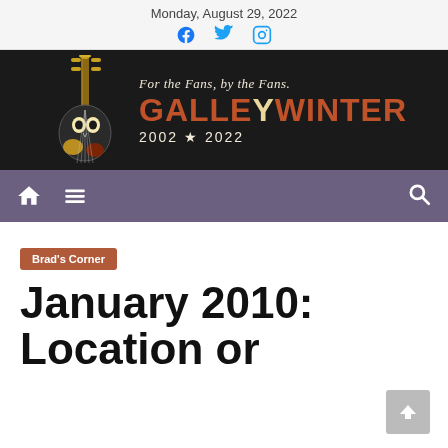Monday, August 29, 2022
[Figure (logo): Galleywinter website banner with guitar skull illustration and text: For the Fans, by the Fans. GALLEYWINTER 2002★2022]
[Figure (other): Navigation bar with home icon, hamburger menu icon, and search icon on purple/slate background]
Brad's Corner
January 2010: Location or